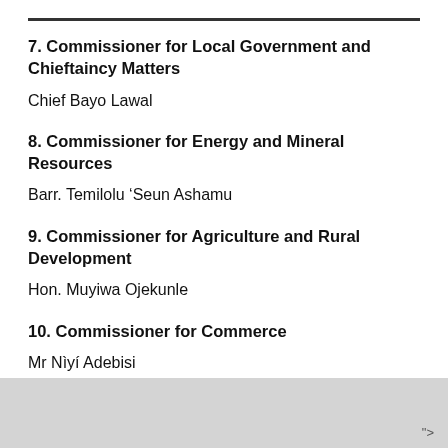7. Commissioner for Local Government and Chieftaincy Matters
Chief Bayo Lawal
8. Commissioner for Energy and Mineral Resources
Barr. Temilolu ‘Seun Ashamu
9. Commissioner for Agriculture and Rural Development
Hon. Muyiwa Ojekunle
10. Commissioner for Commerce
Mr Nìyí Adebisi
">